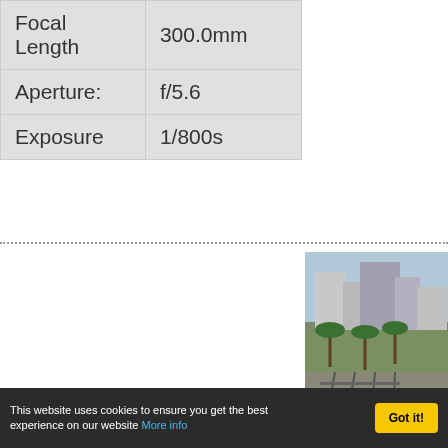|  |  |
| --- | --- |
| Focal Length | 300.0mm |
| Aperture: | f/5.6 |
| Exposure | 1/800s |
|  |  |
| --- | --- |
| Make | Canon |
| Model | Canon EOS 5D Mark II |
| ISO | 200 |
[Figure (photo): Aerial/elevated view of a city with buildings, palm trees, and railway tracks]
This website uses cookies to ensure you get the best experience on our website More info